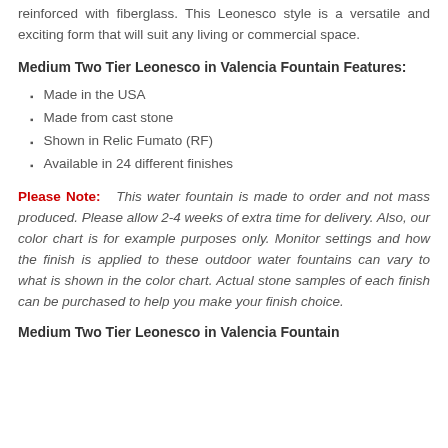reinforced with fiberglass. This Leonesco style is a versatile and exciting form that will suit any living or commercial space.
Medium Two Tier Leonesco in Valencia Fountain Features:
Made in the USA
Made from cast stone
Shown in Relic Fumato (RF)
Available in 24 different finishes
Please Note: This water fountain is made to order and not mass produced. Please allow 2-4 weeks of extra time for delivery. Also, our color chart is for example purposes only. Monitor settings and how the finish is applied to these outdoor water fountains can vary to what is shown in the color chart. Actual stone samples of each finish can be purchased to help you make your finish choice.
Medium Two Tier Leonesco in Valencia Fountain